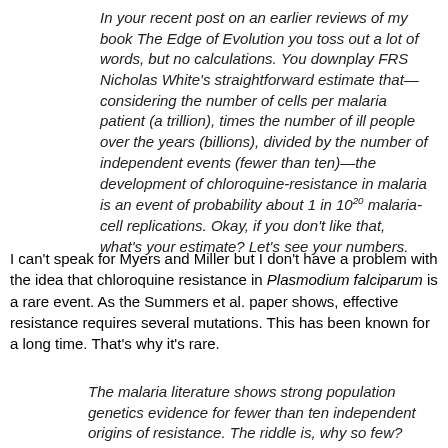In your recent post on an earlier reviews of my book The Edge of Evolution you toss out a lot of words, but no calculations. You downplay FRS Nicholas White's straightforward estimate that—considering the number of cells per malaria patient (a trillion), times the number of ill people over the years (billions), divided by the number of independent events (fewer than ten)—the development of chloroquine-resistance in malaria is an event of probability about 1 in 10^20 malaria-cell replications. Okay, if you don't like that, what's your estimate? Let's see your numbers.
I can't speak for Myers and Miller but I don't have a problem with the idea that chloroquine resistance in Plasmodium falciparum is a rare event. As the Summers et al. paper shows, effective resistance requires several mutations. This has been known for a long time. That's why it's rare.
The malaria literature shows strong population genetics evidence for fewer than ten independent origins of resistance. The riddle is, why so few?